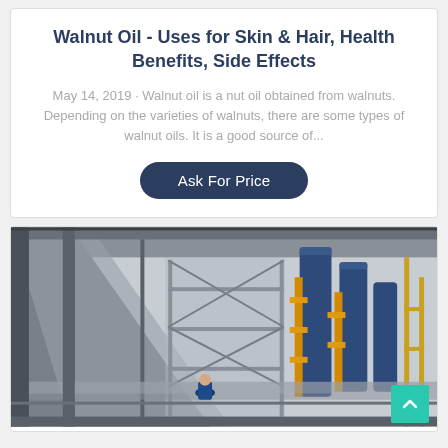Walnut Oil - Uses for Skin & Hair, Health Benefits, Side Effects
May 14, 2019 · Walnut oil is a nut oil obtained from walnuts. Depending on the varieties of walnuts, there are some types of walnut oils. It is a good source of...
[Figure (photo): Industrial oil processing facility with metal scaffolding, large blue cylindrical tanks with yellow/orange pipes, and a worker visible in the foreground. High-angle interior view of a large industrial plant.]